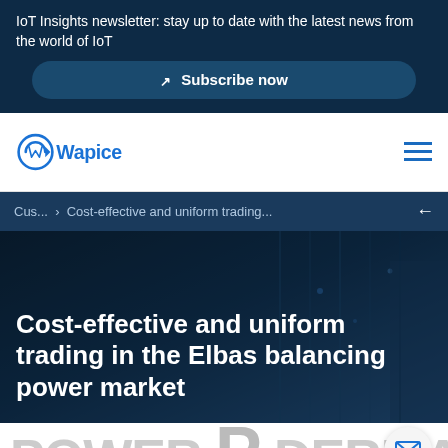IoT Insights newsletter: stay up to date with the latest news from the world of IoT
Subscribe now
[Figure (logo): Wapice company logo with blue circular arrow icon and 'Wapice' text in blue]
Cus... › Cost-effective and uniform trading...
Cost-effective and uniform trading in the Elbas balancing power market
power P DERIVA